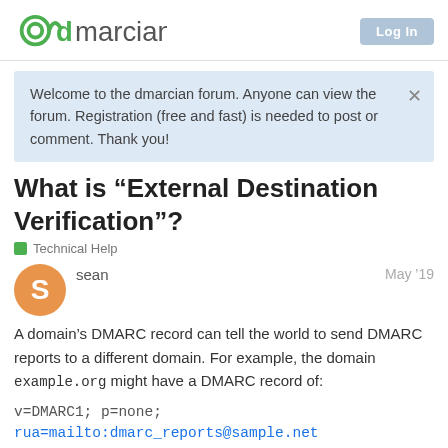dmarcian
Welcome to the dmarcian forum. Anyone can view the forum. Registration (free and fast) is needed to post or comment. Thank you!
What is “External Destination Verification”?
Technical Help
sean  May ’19
A domain’s DMARC record can tell the world to send DMARC reports to a different domain. For example, the domain example.org might have a DMARC record of:
v=DMARC1; p=none; rua=mailto:dmarc_reports@sample.net